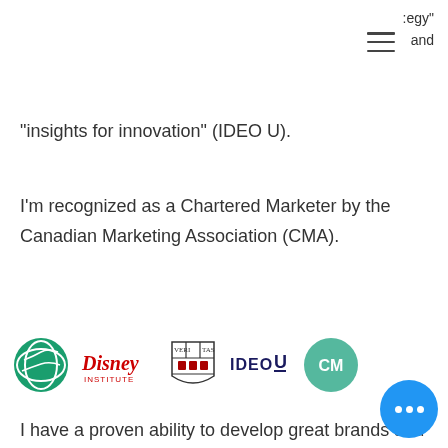:egy" and
"insights for innovation" (IDEO U).
I'm recognized as a Chartered Marketer by the Canadian Marketing Association (CMA).
[Figure (logo): Row of five logos: Similarweb (green globe), Disney Institute (red stylized text), Harvard (shield with veritas), IDEO U (bold dark blue text), CMA Chartered Marketer (green circle with CM)]
I have a proven ability to develop great brands and over-deliver growth targets. I'm experienced in building strategic plans to outmaneuver the competition, helping products stand-out and su... in the market, commercializing insight-